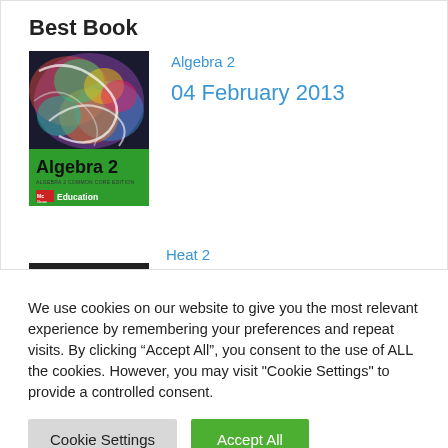Best Book
[Figure (illustration): Cover of Algebra 2 textbook by McGraw Hill Education, featuring colorful abstract art on the top half and 'Algebra 2' text with McGraw Hill Education logo on green background at bottom.]
Algebra 2
04 February 2013
Heat 2
We use cookies on our website to give you the most relevant experience by remembering your preferences and repeat visits. By clicking “Accept All”, you consent to the use of ALL the cookies. However, you may visit "Cookie Settings" to provide a controlled consent.
Cookie Settings
Accept All